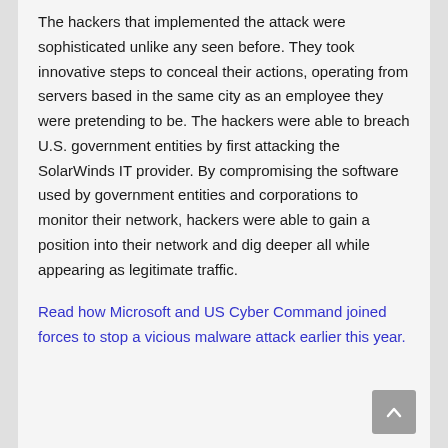The hackers that implemented the attack were sophisticated unlike any seen before. They took innovative steps to conceal their actions, operating from servers based in the same city as an employee they were pretending to be. The hackers were able to breach U.S. government entities by first attacking the SolarWinds IT provider. By compromising the software used by government entities and corporations to monitor their network, hackers were able to gain a position into their network and dig deeper all while appearing as legitimate traffic.
Read how Microsoft and US Cyber Command joined forces to stop a vicious malware attack earlier this year.